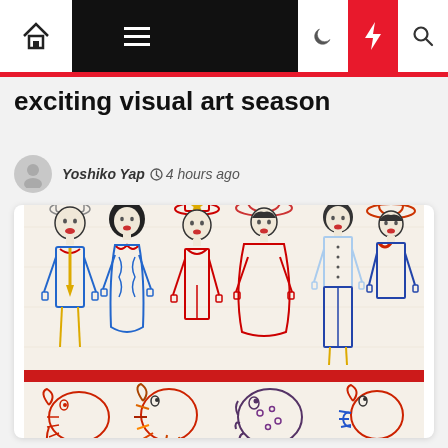Navigation bar with home, menu, dark mode, lightning, and search icons
exciting visual art season
Yoshiko Yap  4 hours ago
[Figure (illustration): Embroidered textile artwork showing six human figures in colorful outlines (blue, red, yellow) wearing various hats and costumes, standing in a row. Below a red horizontal band are four bird figures in outline colors of red, orange, blue, and purple on a light fabric background.]